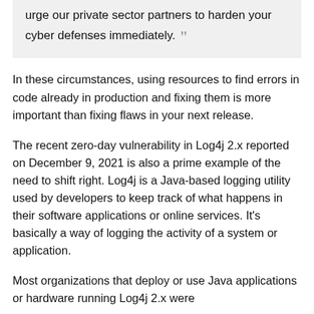urge our private sector partners to harden your cyber defenses immediately.
In these circumstances, using resources to find errors in code already in production and fixing them is more important than fixing flaws in your next release.
The recent zero-day vulnerability in Log4j 2.x reported on December 9, 2021 is also a prime example of the need to shift right. Log4j is a Java-based logging utility used by developers to keep track of what happens in their software applications or online services. It's basically a way of logging the activity of a system or application.
Most organizations that deploy or use Java applications or hardware running Log4j 2.x were